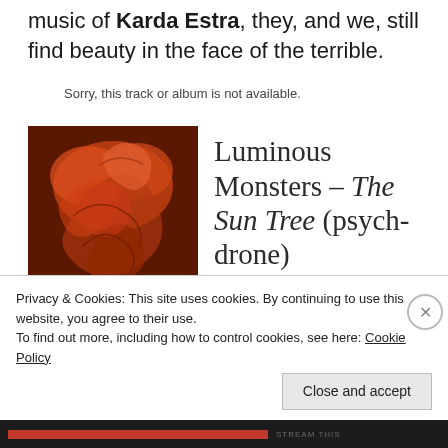music of Karda Estra, they, and we, still find beauty in the face of the terrible.
Sorry, this track or album is not available.
[Figure (illustration): Album cover art showing orange swirling smoke/cloud forms on a dark reddish-brown background]
Luminous Monsters – The Sun Tree (psych-drone)
Privacy & Cookies: This site uses cookies. By continuing to use this website, you agree to their use.
To find out more, including how to control cookies, see here: Cookie Policy
Close and accept